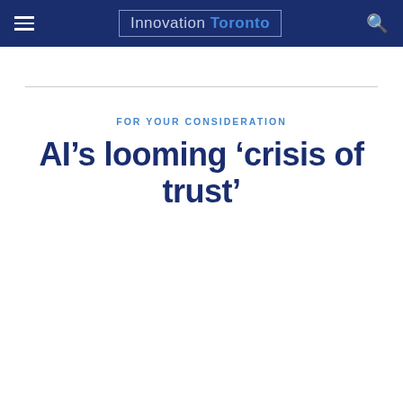Innovation Toronto
FOR YOUR CONSIDERATION
AI’s looming ‘crisis of trust’